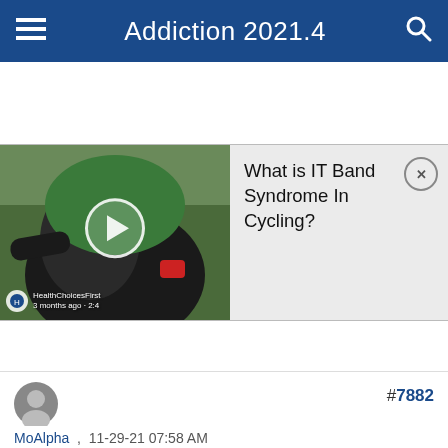Addiction 2021.4
[Figure (screenshot): Video thumbnail showing a cyclist in green jersey and black shorts riding a bike, with a play button in the center and HealthChoicesFirst watermark at bottom left]
What is IT Band Syndrome In Cycling?
#7882
MoAlpha , 11-29-21 07:58 AM
• —
Hey, genejockey , Zwift is better on a computer, as you said. Marginally, but enough to be worth carrying the laptop to the basement.